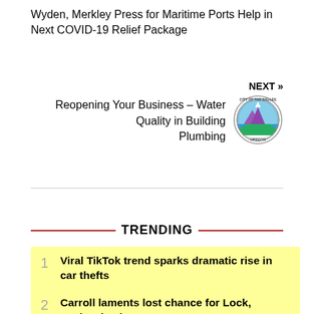Wyden, Merkley Press for Maritime Ports Help in Next COVID-19 Relief Package
NEXT »
Reopening Your Business – Water Quality in Building Plumbing
[Figure (logo): City of The Dalles, Oregon circular seal logo with mountain and river imagery]
TRENDING
1 Viral TikTok trend sparks dramatic rise in car thefts
2 Carroll laments lost chance for Lock, Seahawks due to COVID
3 8-18-2022 Wagner Road Fire Media Release